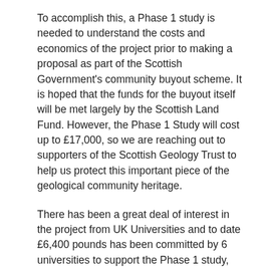To accomplish this, a Phase 1 study is needed to understand the costs and economics of the project prior to making a proposal as part of the Scottish Government's community buyout scheme. It is hoped that the funds for the buyout itself will be met largely by the Scottish Land Fund. However, the Phase 1 Study will cost up to £17,000, so we are reaching out to supporters of the Scottish Geology Trust to help us protect this important piece of the geological community heritage.
There has been a great deal of interest in the project from UK Universities and to date £6,400 pounds has been committed by 6 universities to support the Phase 1 study, with additional cash being supplied by others including NWH Geopark, Scottish Geology Trust, Edinburgh Geological